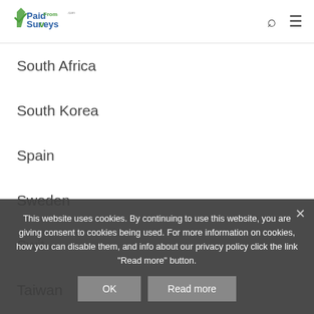PaidFromSurveys.com
South Africa
South Korea
Spain
Sweden
Switzerland
Taiwan
Thailand
This website uses cookies. By continuing to use this website, you are giving consent to cookies being used. For more information on cookies, how you can disable them, and info about our privacy policy click the link "Read more" button.